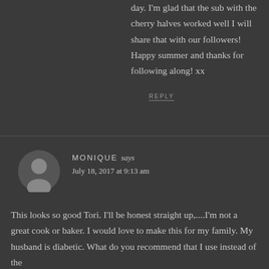day. I'm glad that the sub with the cherry halves worked well I will share that with our followers! Happy summer and thanks for following along! xx
REPLY
[Figure (illustration): Gray circular avatar icon for user Monique]
MONIQUE says
July 18, 2017 at 9:13 am
This looks so good Tori. I'll be honest straight up,....I'm not a great cook or baker. I would love to make this for my family. My husband is diabetic. What do you recommend that I use instead of the